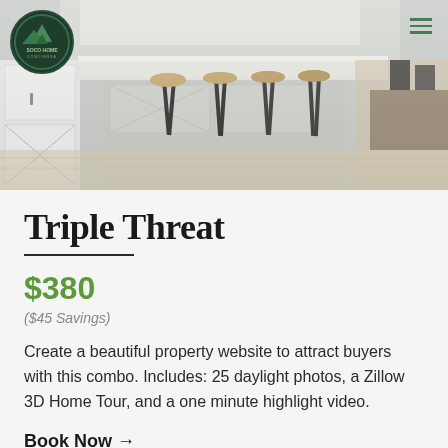[Figure (photo): Kitchen interior with white cabinetry, a large island with marble countertop, wooden bar stools with black metal frames, and a dining area visible in the background]
Triple Threat
$380
($45 Savings)
Create a beautiful property website to attract buyers with this combo. Includes: 25 daylight photos, a Zillow 3D Home Tour, and a one minute highlight video.
Book Now →